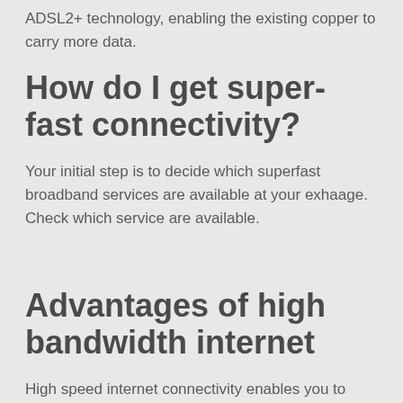ADSL2+ technology, enabling the existing copper to carry more data.
How do I get super-fast connectivity?
Your initial step is to decide which superfast broadband services are available at your exhaage. Check which service are available.
Advantages of high bandwidth internet
High speed internet connectivity enables you to take advantage of all the entertainment available